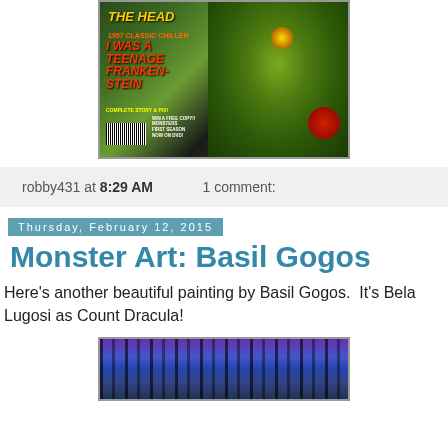[Figure (photo): Magazine cover of 'The Head' featuring a green monster face and text 'I Was a Teenage Frankenstein', 1957 classic chiller horror magazine]
robby431 at 8:29 AM    1 comment:
Thursday, February 12, 2015
Monster Art: Basil Gogos
Here's another beautiful painting by Basil Gogos.  It's Bela Lugosi as Count Dracula!
[Figure (photo): Partial view of a painting by Basil Gogos showing Bela Lugosi as Count Dracula with purple/blue tones and dark tree silhouettes]